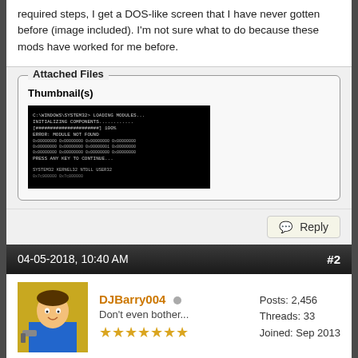required steps, I get a DOS-like screen that I have never gotten before (image included). I'm not sure what to do because these mods have worked for me before.
[Figure (screenshot): DOS-like black screen with white text, shown as thumbnail in Attached Files section]
Reply
04-05-2018, 10:40 AM
#2
DJBarry004
Don't even bother...
Posts: 2,456
Threads: 33
Joined: Sep 2013
Which was the last dev build that it worked on? On which one it started to fail?
Rig 1: Windows 10 Home | AMD A6-1450 @ 600/1000/1400 MHz | AMD Radeon HD Graphics 8250 | 4GB RAM | HP Pavilion TouchSmart 11.